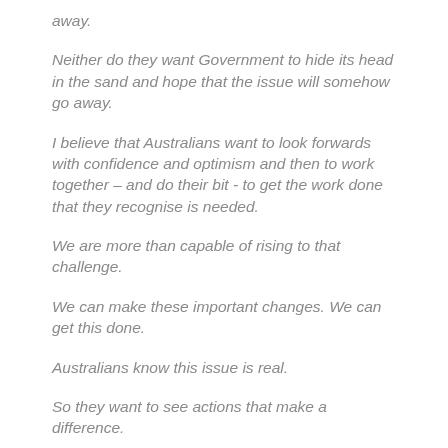away.
Neither do they want Government to hide its head in the sand and hope that the issue will somehow go away.
I believe that Australians want to look forwards with confidence and optimism and then to work together – and do their bit - to get the work done that they recognise is needed.
We are more than capable of rising to that challenge.
We can make these important changes. We can get this done.
Australians know this issue is real.
So they want to see actions that make a difference.